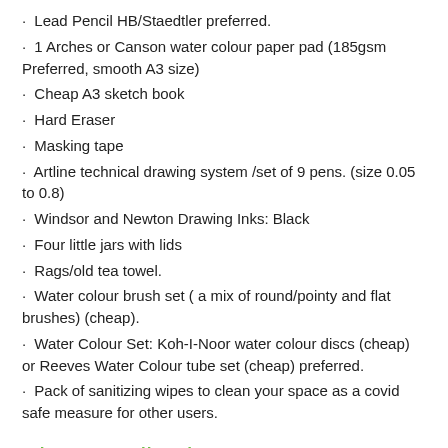Lead Pencil HB/Staedtler preferred.
1 Arches or Canson water colour paper pad (185gsm Preferred, smooth A3 size)
Cheap A3 sketch book
Hard Eraser
Masking tape
Artline technical drawing system /set of 9 pens. (size 0.05 to 0.8)
Windsor and Newton Drawing Inks: Black
Four little jars with lids
Rags/old tea towel.
Water colour brush set ( a mix of round/pointy and flat brushes) (cheap).
Water Colour Set: Koh-I-Noor water colour discs (cheap) or Reeves Water Colour tube set (cheap) preferred.
Pack of sanitizing wipes to clean your space as a covid safe measure for other users.
About studio classes
Our class sizes are small, ensuring you receive the individual tuition you need. We have a maximum of 12